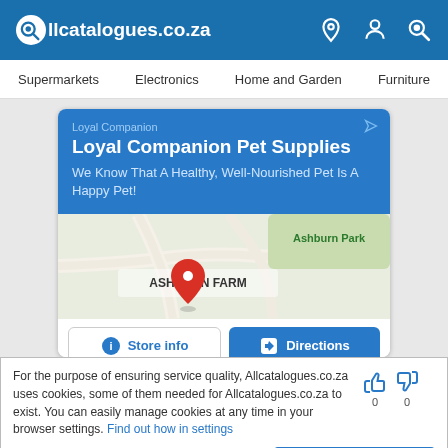allcatalogues.co.za
Supermarkets  Electronics  Home and Garden  Furniture
[Figure (infographic): Advertisement card for Loyal Companion Pet Supplies with a map showing Ashburn Farm/Ashburn Park location with a red pin marker, and two buttons: Store info and Directions]
For the purpose of ensuring service quality, Allcatalogues.co.za uses cookies, some of them needed for Allcatalogues.co.za to exist. You can easily manage cookies at any time in your browser settings. Find out how in settings